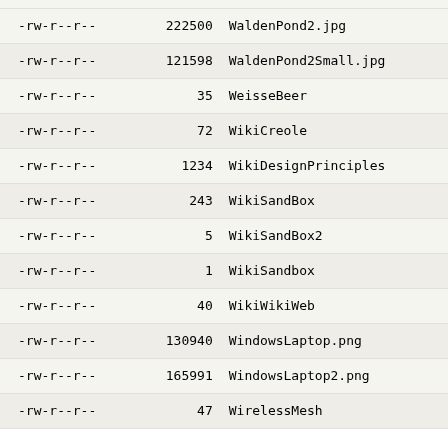| permissions | size | name |
| --- | --- | --- |
| -rw-r--r-- | 222500 | WaldenPond2.jpg |
| -rw-r--r-- | 121598 | WaldenPond2Small.jpg |
| -rw-r--r-- | 35 | WeisseBeer |
| -rw-r--r-- | 72 | WikiCreole |
| -rw-r--r-- | 1234 | WikiDesignPrinciples |
| -rw-r--r-- | 243 | WikiSandBox |
| -rw-r--r-- | 5 | WikiSandBox2 |
| -rw-r--r-- | 1 | WikiSandbox |
| -rw-r--r-- | 40 | WikiWikiWeb |
| -rw-r--r-- | 130940 | WindowsLaptop.png |
| -rw-r--r-- | 165991 | WindowsLaptop2.png |
| -rw-r--r-- | 47 | WirelessMesh |